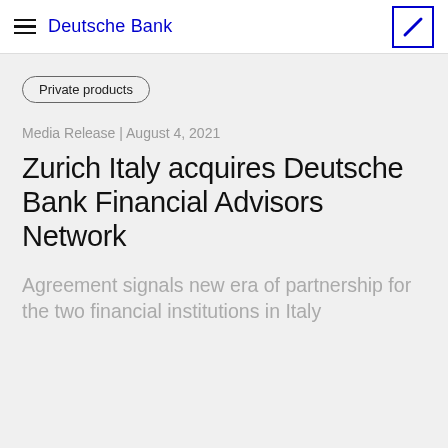Deutsche Bank
Private products
Media Release | August 4, 2021
Zurich Italy acquires Deutsche Bank Financial Advisors Network
Agreement signals new era of partnership for the two financial institutions in Italy